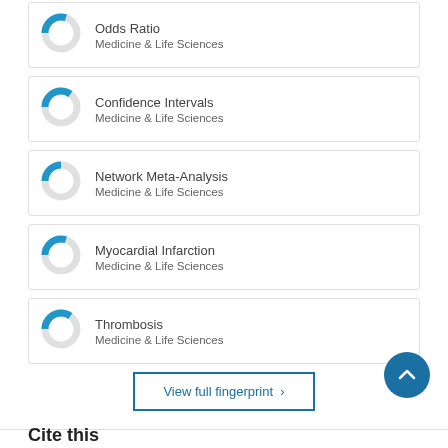[Figure (donut-chart): Donut chart for Odds Ratio (~30% filled blue)]
Odds Ratio
Medicine & Life Sciences
[Figure (donut-chart): Donut chart for Confidence Intervals (~35% filled blue)]
Confidence Intervals
Medicine & Life Sciences
[Figure (donut-chart): Donut chart for Network Meta-Analysis (~25% filled blue)]
Network Meta-Analysis
Medicine & Life Sciences
[Figure (donut-chart): Donut chart for Myocardial Infarction (~30% filled blue)]
Myocardial Infarction
Medicine & Life Sciences
[Figure (donut-chart): Donut chart for Thrombosis (~35% filled blue)]
Thrombosis
Medicine & Life Sciences
View full fingerprint ›
Cite this